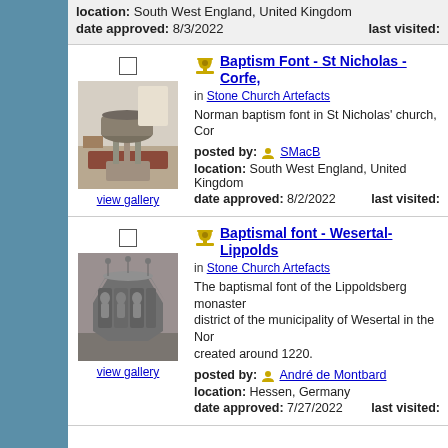location: South West England, United Kingdom
date approved: 8/3/2022   last visited:
[Figure (photo): Photo of Norman baptism font in St Nicholas church - a stone carved circular font on pillars]
view gallery
Baptism Font - St Nicholas - Corfe,
in Stone Church Artefacts
Norman baptism font in St Nicholas' church, Cor
posted by: SMacB
location: South West England, United Kingdom
date approved: 8/2/2022   last visited:
[Figure (photo): Photo of ornate gothic baptismal font from Wesertal-Lippoldsberg monastery with carved figures]
view gallery
Baptismal font - Wesertal-Lippolds
in Stone Church Artefacts
The baptismal font of the Lippoldsberg monastery district of the municipality of Wesertal in the Nor created around 1220.
posted by: André de Montbard
location: Hessen, Germany
date approved: 7/27/2022   last visited: